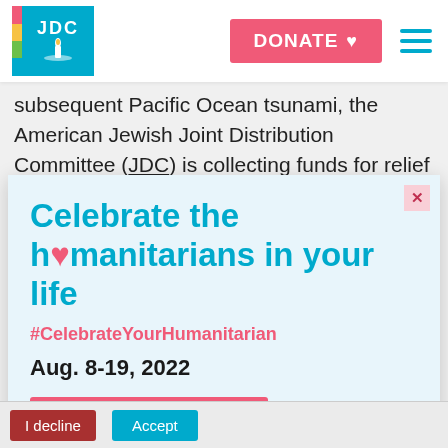[Figure (logo): JDC logo — white menorah/lamp icon on teal/cyan square background with colored stripes on left side]
DONATE ♥
subsequent Pacific Ocean tsunami, the American Jewish Joint Distribution Committee (JDC) is collecting funds for relief efforts and has reached out to the
Celebrate the h♥manitarians in your life
#CelebrateYourHumanitarian
Aug. 8-19, 2022
LEARN MORE »
I decline
Accept